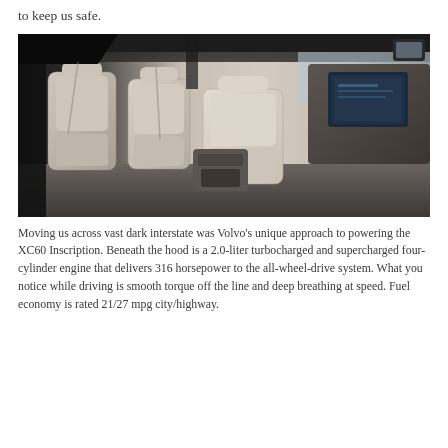to keep us safe.
[Figure (photo): Interior of a Volvo XC60, showing cream/beige leather seats from the rear cabin looking toward the front dashboard and infotainment screen. Multiple rows of seats are visible.]
Moving us across vast dark interstate was Volvo's unique approach to powering the XC60 Inscription. Beneath the hood is a 2.0-liter turbocharged and supercharged four-cylinder engine that delivers 316 horsepower to the all-wheel-drive system. What you notice while driving is smooth torque off the line and deep breathing at speed. Fuel economy is rated 21/27 mpg city/highway.